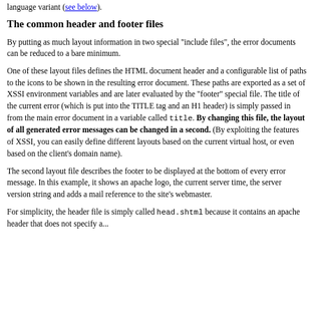language variant (see below).
The common header and footer files
By putting as much layout information in two special "include files", the error documents can be reduced to a bare minimum.
One of these layout files defines the HTML document header and a configurable list of paths to the icons to be shown in the resulting error document. These paths are exported as a set of XSSI environment variables and are later evaluated by the "footer" special file. The title of the current error (which is put into the TITLE tag and an H1 header) is simply passed in from the main error document in a variable called title. By changing this file, the layout of all generated error messages can be changed in a second. (By exploiting the features of XSSI, you can easily define different layouts based on the current virtual host, or even based on the client's domain name).
The second layout file describes the footer to be displayed at the bottom of every error message. In this example, it shows an apache logo, the current server time, the server version string and adds a mail reference to the site's webmaster.
For simplicity, the header file is simply called head.shtml because it contains an apache header that does not specify a...